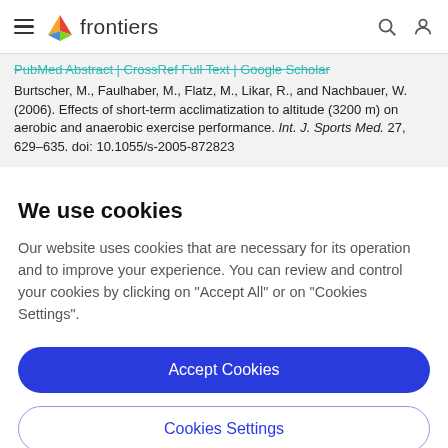frontiers [navigation header with hamburger menu, logo, search and user icons]
PubMed Abstract | CrossRef Full Text | Google Scholar
Burtscher, M., Faulhaber, M., Flatz, M., Likar, R., and Nachbauer, W. (2006). Effects of short-term acclimatization to altitude (3200 m) on aerobic and anaerobic exercise performance. Int. J. Sports Med. 27, 629–635. doi: 10.1055/s-2005-872823
We use cookies
Our website uses cookies that are necessary for its operation and to improve your experience. You can review and control your cookies by clicking on "Accept All" or on "Cookies Settings".
Accept Cookies
Cookies Settings